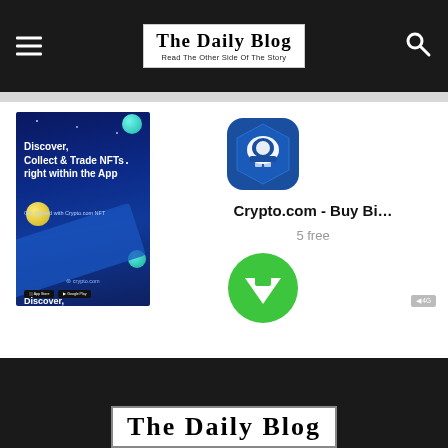The Daily Blog — Read The Other Side Of The Story
[Figure (screenshot): Crypto.com NFT advertisement showing 'Discover, Collect & Trade NFTs right within the App' on dark blue space-themed background]
[Figure (logo): Crypto.com app icon — blue hexagonal shield with helmet logo]
Crypto.com - Buy Bi…
5 free
[Figure (illustration): Green circle download arrow button]
◀ 4G
The Daily Blog (footer logo)